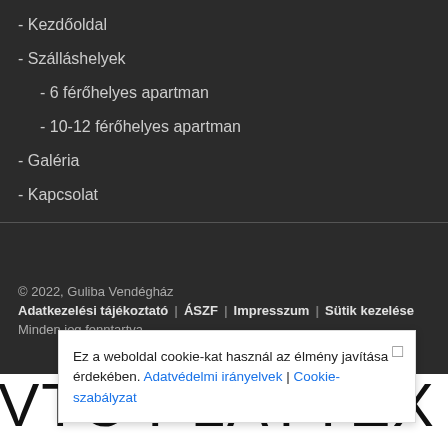- Kezdőoldal
- Szálláshelyek
- 6 férőhelyes apartman
- 10-12 férőhelyes apartman
- Galéria
- Kapcsolat
© 2022, Guliba Vendégház
Adatkezelési tájékoztató | ÁSZF | Impresszum | Sütik kezelése
Minden jog fenntartva.
VTC PLAYTEX CROSS
Y
BRANDS 34A
Ez a weboldal cookie-kat használ az élmény javítása érdekében. Adatvédelmi irányelvek | Cookie-szabályzat